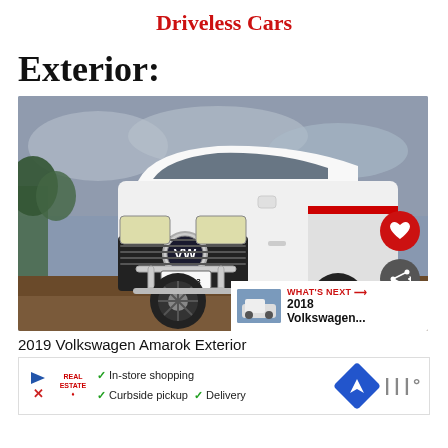Driveless Cars
Exterior:
[Figure (photo): White 2019 Volkswagen Amarok pickup truck photographed from front-left angle on a dirt surface with trees and overcast sky in background. License plate reads KJN863. Heart and share buttons visible on right side. 'What's Next' overlay in bottom right corner showing '2018 Volkswagen...']
2019 Volkswagen Amarok Exterior
[Figure (infographic): Advertisement bar with play/X icons, brand logo, checkmarks for 'In-store shopping', 'Curbside pickup', 'Delivery', a blue diamond navigation icon, and wave signal icon]